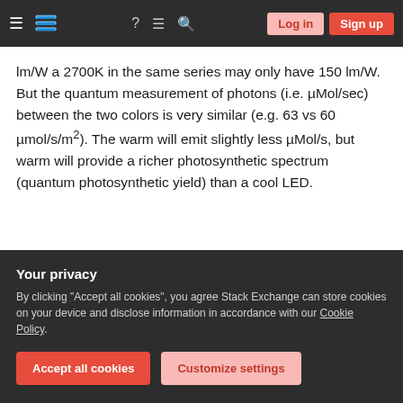Stack Exchange navigation bar with Log in and Sign up buttons
lm/W a 2700K in the same series may only have 150 lm/W. But the quantum measurement of photons (i.e. µMol/sec) between the two colors is very similar (e.g. 63 vs 60 µmol/s/m²). The warm will emit slightly less µMol/s, but warm will provide a richer photosynthetic spectrum (quantum photosynthetic yield) than a cool LED.
In your case the optimal voltage would be 24V and
Your privacy
By clicking "Accept all cookies", you agree Stack Exchange can store cookies on your device and disclose information in accordance with our Cookie Policy.
Accept all cookies   Customize settings